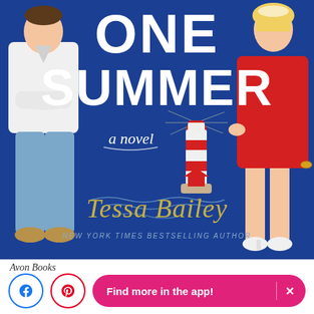[Figure (illustration): Book cover for 'One Summer' by Tessa Bailey. Dark blue background. Two illustrated characters: a man in white shirt and jeans on the left, a woman in a red dress on the right. Large white bold text reads 'ONE SUMMER'. Cursive text says 'a novel'. A red and white lighthouse illustration in the center. Gold cursive author name 'Tessa Bailey'. Text at bottom reads 'NEW YORK TIMES BESTSELLING AUTHOR'. Published by Avon Books.]
Avon Books
Find more in the app!